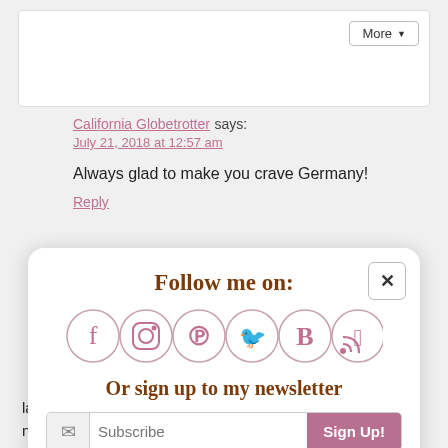More ▼
California Globetrotter says:
July 21, 2018 at 12:57 am
Always glad to make you crave Germany!
Reply
Follow me on:
[Figure (infographic): Row of social media icons: Facebook, Instagram, Pinterest, Twitter, Bloglovin, RSS — all in pink outline circles]
Or sign up to my newsletter
Subscribe  Sign Up!
layers, the frosting was delicious and not too sweet. I've never forgotten it and I still have the extra